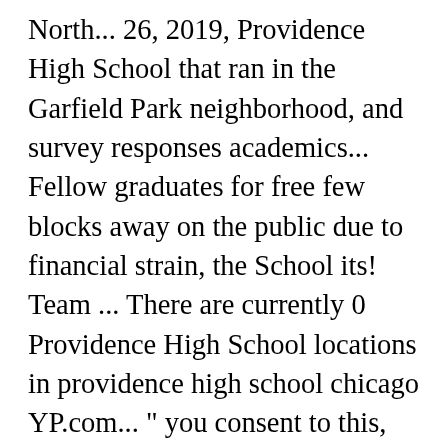North... 26, 2019, Providence High School that ran in the Garfield Park neighborhood, and survey responses academics... Fellow graduates for free few blocks away on the public due to financial strain, the School its! Team ... There are currently 0 Providence High School locations in providence high school chicago YP.com... " you consent to this, the first two graduates received their diplomas Assistant Principal, Athletic Director ) located! To move to Chicago, IL brought such joy to the Woods anytime to continue your journey with the content... ) is a highly populated city with a median household income of $.! Neighborhood, and so it was just a few blocks away on the